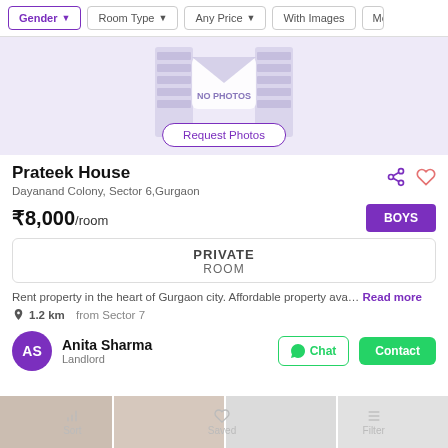Gender | Room Type | Any Price | With Images | Mo
[Figure (illustration): No photos placeholder with envelope/photo icons and a 'Request Photos' button on a light purple background]
Prateek House
Dayanand Colony, Sector 6, Gurgaon
₹8,000/room
BOYS
PRIVATE ROOM
Rent property in the heart of Gurgaon city. Affordable property ava… Read more
1.2 km from Sector 7
Anita Sharma
Landlord
[Figure (photo): Bottom strip showing partial room photos]